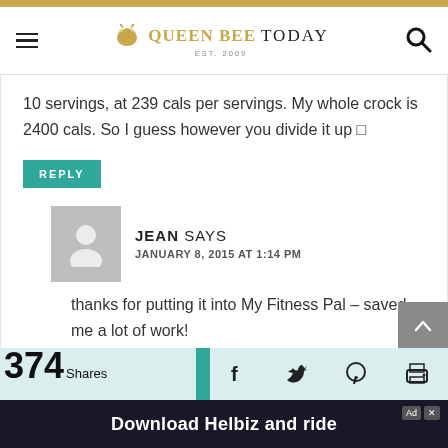QUEEN BEE TODAY EST. 2009
10 servings, at 239 cals per servings. My whole crock is 2400 cals. So I guess however you divide it up 🔲
REPLY
JEAN SAYS
JANUARY 8, 2015 AT 1:14 PM
thanks for putting it into My Fitness Pal – saved me a lot of work!
374 Shares
Download Helbiz and ride